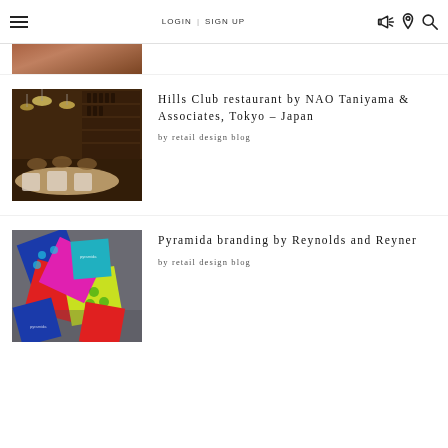LOGIN | SIGN UP
[Figure (photo): Partial view of a restaurant interior image, cropped at top of page]
[Figure (photo): Hills Club restaurant interior showing wooden paneling, wine shelves, pendant lights, and dining tables set with white linens]
Hills Club restaurant by NAO Taniyama & Associates, Tokyo – Japan
by retail design blog
[Figure (photo): Colorful Pyramida branding materials showing cards and packaging with bold geometric patterns in blue, red, yellow, and green]
Pyramida branding by Reynolds and Reyner
by retail design blog